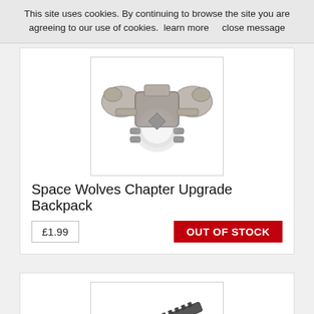This site uses cookies. By continuing to browse the site you are agreeing to our use of cookies.  learn more      close message
[Figure (photo): Silver/grey Space Wolves Chapter Upgrade Backpack miniature component with ornate wolf-themed design]
Space Wolves Chapter Upgrade Backpack
£1.99
OUT OF STOCK
[Figure (photo): Dark grey/black chainsaw sword miniature weapon component for tabletop gaming]